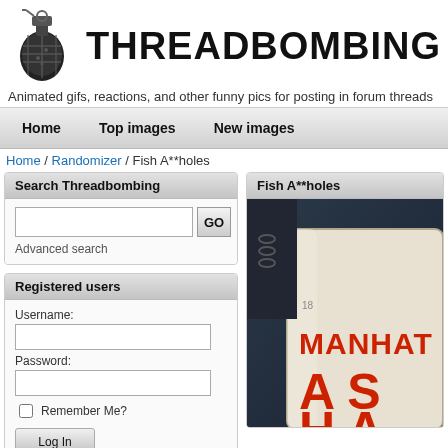[Figure (logo): Threadbombing logo with grenade graphic and bold distressed text 'THREADBOMBING']
Animated gifs, reactions, and other funny pics for posting in forum threads
Home | Top images | New images
Home / Randomizer / Fish A**holes
Search Threadbombing
Advanced search
Registered users
Username:
Password:
Remember Me?
Log In
Fish A**holes
[Figure (photo): Close-up photo of a can labeled 'MANHATTAN' with red text reading 'Fish A**holes' (partially visible as 'MANHAT' and 'A' and 'H A')]